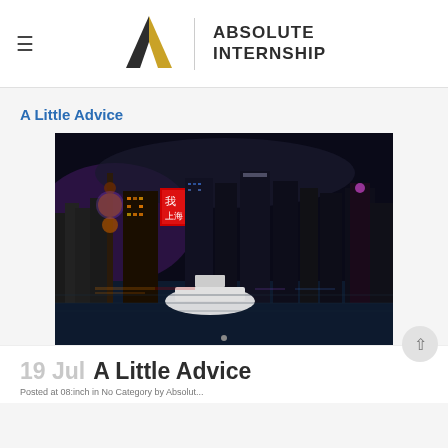[Figure (logo): Absolute Internship logo with gold/black triangle 'A' icon, vertical divider, and bold uppercase text 'ABSOLUTE INTERNSHIP']
A Little Advice
[Figure (photo): Night cityscape of Shanghai waterfront with illuminated skyscrapers, Oriental Pearl Tower, and boats on the river. A building displays Chinese characters 我爱上海 in lights.]
19 Jul A Little Advice
Posted at 08:inch in No Category by Absolut...